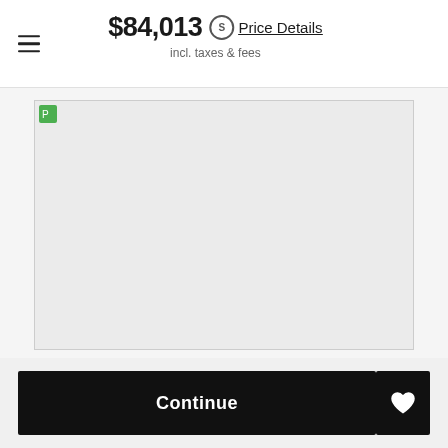$84,013 Price Details incl. taxes & fees
[Figure (photo): Car listing photo area — light gray placeholder image with a small green icon in the top-left corner]
$85,963    45,567 miles
Continue